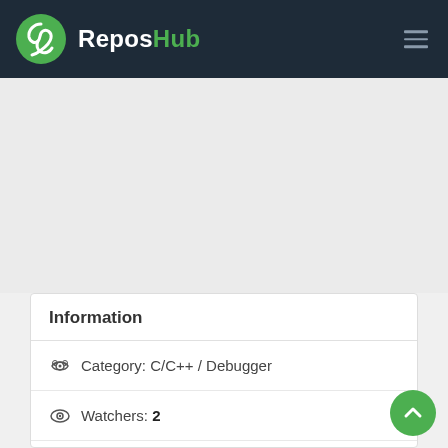ReposHub
Information
Category: C/C++ / Debugger
Watchers: 2
Star: 15
Fork: 3